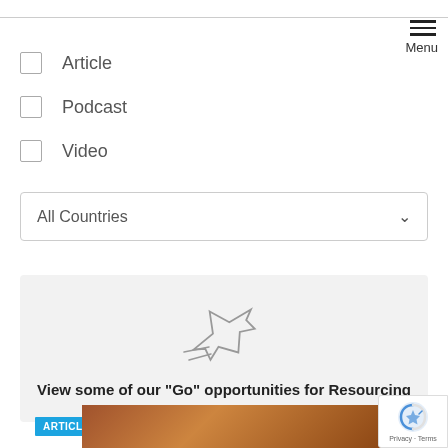Article
Podcast
Video
All Countries
[Figure (illustration): Airplane icon with speed lines, grey outline style]
View some of our "Go" opportunities for Resourcing
ARTICLE
[Figure (photo): Partial photo of wooden doors/building facade, brown tones]